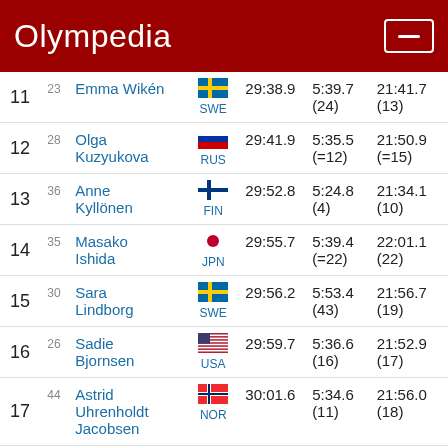Olympedia
| Rank | Bib | Name | Country | Time | Split | Total |
| --- | --- | --- | --- | --- | --- | --- |
| 11 | 23 | Emma Wikén | SWE | 29:38.9 | 5:39.7 (24) | 21:41.7 (13) |
| 12 | 28 | Olga Kuzyukova | RUS | 29:41.9 | 5:35.5 (=12) | 21:50.9 (=15) |
| 13 | 36 | Anne Kyllönen | FIN | 29:52.8 | 5:24.8 (4) | 21:34.1 (10) |
| 14 | 35 | Masako Ishida | JPN | 29:55.7 | 5:39.4 (=22) | 22:01.1 (22) |
| 15 | 30 | Sara Lindborg | SWE | 29:56.2 | 5:53.4 (43) | 21:56.7 (19) |
| 16 | 26 | Sadie Bjornsen | USA | 29:59.7 | 5:36.6 (16) | 21:52.9 (17) |
| 17 | 44 | Astrid Uhrenholdt Jacobsen | NOR | 30:01.6 | 5:34.6 (11) | 21:56.0 (18) |